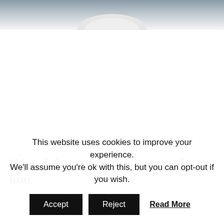[Figure (photo): Partial photo of a person wearing a white winter hat, cropped at the top of the page. The lower portion fades into white.]
If his defence practice has taught him
This website uses cookies to improve your experience. We'll assume you're ok with this, but you can opt-out if you wish. Accept Reject Read More